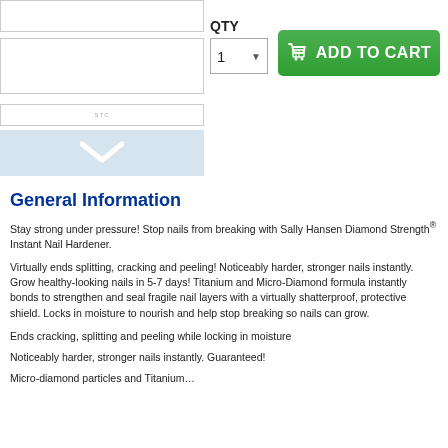[Figure (screenshot): Top image placeholder box (product image area)]
[Figure (screenshot): Middle image placeholder box]
[Figure (screenshot): Small box with label]
[Figure (screenshot): Blue box with white chevron/arrow down icon]
QTY
[Figure (screenshot): Quantity selector dropdown showing 1 with chevron]
[Figure (screenshot): Green Add to Cart button with basket icon]
General Information
Stay strong under pressure! Stop nails from breaking with Sally Hansen Diamond Strength® Instant Nail Hardener.
Virtually ends splitting, cracking and peeling! Noticeably harder, stronger nails instantly. Grow healthy-looking nails in 5-7 days! Titanium and Micro-Diamond formula instantly bonds to strengthen and seal fragile nail layers with a virtually shatterproof, protective shield. Locks in moisture to nourish and help stop breaking so nails can grow.
Ends cracking, splitting and peeling while locking in moisture
Noticeably harder, stronger nails instantly. Guaranteed!
Micro-diamond particles and Titanium…